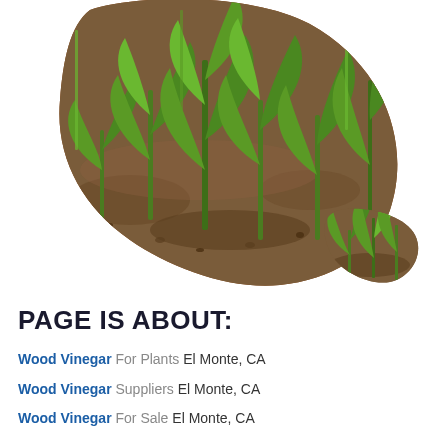[Figure (photo): Two organic blob/drop shapes containing a photo of young green seedlings (corn/vegetable sprouts) growing in brown soil. The larger shape is on the left/center-top, and the smaller blob shape is on the lower right.]
PAGE IS ABOUT:
Wood Vinegar For Plants El Monte, CA
Wood Vinegar Suppliers El Monte, CA
Wood Vinegar For Sale El Monte, CA